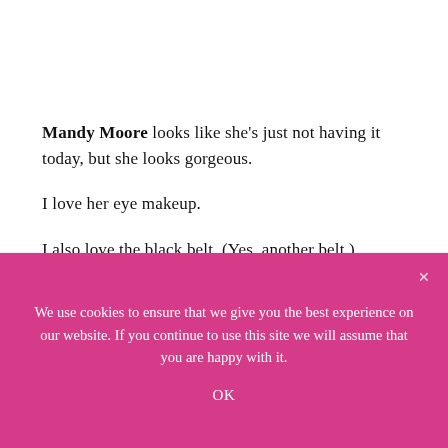Mandy Moore looks like she's just not having it today, but she looks gorgeous.

I love her eye makeup.

I also love the black belt. (Yes, another belt.)

All of this is great.
We use cookies to ensure that we give you the best experience on our website. If you continue to use this site we will assume that you are happy with it.

OK